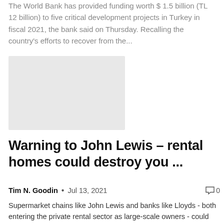The World Bank has provided funding worth $ 1.5 billion (TL 12 billion) to five critical development projects in Turkey in fiscal 2021, the bank said on Thursday. Recalling the country's efforts to recover from the...
[Figure (photo): Placeholder image (light grey rectangle)]
Warning to John Lewis – rental homes could destroy you ...
Tim N. Goodin  •  Jul 13, 2021   🗨 0
Supermarket chains like John Lewis and banks like Lloyds - both entering the private rental sector as large-scale owners - could end up destroying their reputations. This is the opinion of the